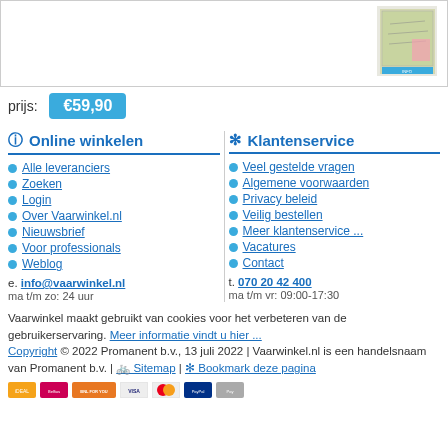[Figure (photo): Product image of a nautical chart or map guide]
prijs: €59,90
Online winkelen
Alle leveranciers
Zoeken
Login
Over Vaarwinkel.nl
Nieuwsbrief
Voor professionals
Weblog
Klantenservice
Veel gestelde vragen
Algemene voorwaarden
Privacy beleid
Veilig bestellen
Meer klantenservice ...
Vacatures
Contact
e. info@vaarwinkel.nl
ma t/m zo: 24 uur
t. 070 20 42 400
ma t/m vr: 09:00-17:30
Vaarwinkel maakt gebruikt van cookies voor het verbeteren van de gebruikerservaring. Meer informatie vindt u hier ...
Copyright © 2022 Promanent b.v., 13 juli 2022 | Vaarwinkel.nl is een handelsnaam van Promanent b.v. | Sitemap | Bookmark deze pagina
[Figure (logo): Payment method logos including iDEAL, Belfius, BNL, Visa, Mastercard, PayPal and others]